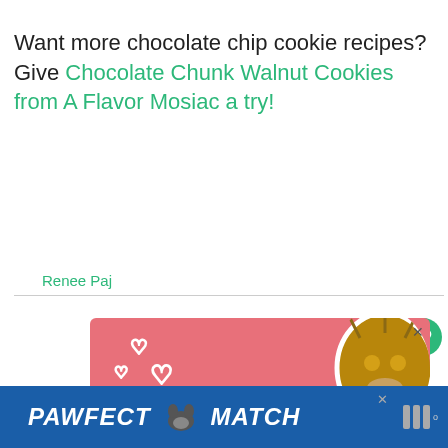Want more chocolate chip cookie recipes? Give Chocolate Chunk Walnut Cookies from A Flavor Mosiac a try!
Renee Paj
[Figure (photo): Advertisement banner with pink/red background showing cartoon hearts and a tabby cat sticker. Text at bottom partially visible. Close button (x) in top right. Like button (heart icon, count 1) and share button on the right side.]
[Figure (photo): Footer advertisement: PAWFECT MATCH in bold white italic text on blue background with a cat face icon. Close button and small logo on right.]